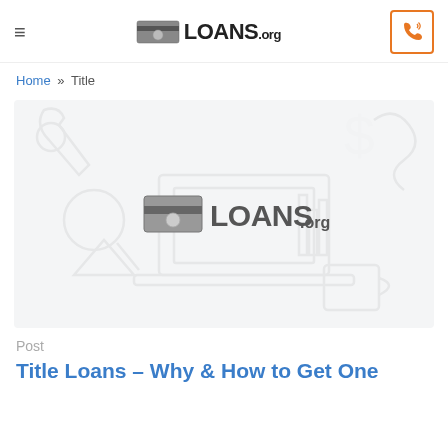≡  LOANS.org  [phone icon]
Home » Title
[Figure (illustration): Loans.org branded hero image with light gray financial icons in background (wrench, magnifying glass, laptop, dollar sign, safe, coffee cup) and Loans.org logo centered in the middle]
Post
Title Loans – Why & How to Get One